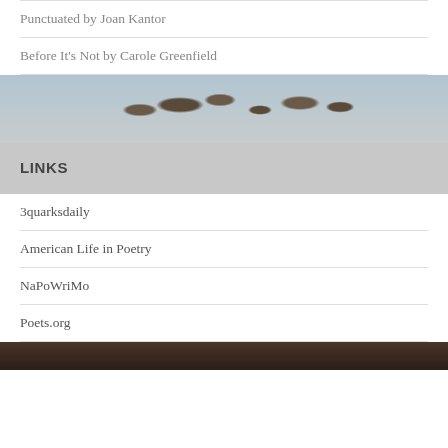Punctuated by Joan Kantor
Before It's Not by Carole Greenfield
[Figure (photo): Narrow horizontal band showing a blurry nature/landscape photo with silhouettes of plants or birds against a light sky]
LINKS
3quarksdaily
American Life in Poetry
NaPoWriMo
Poets.org
[Figure (photo): Narrow horizontal band at the bottom showing a dark nature/ground scene]